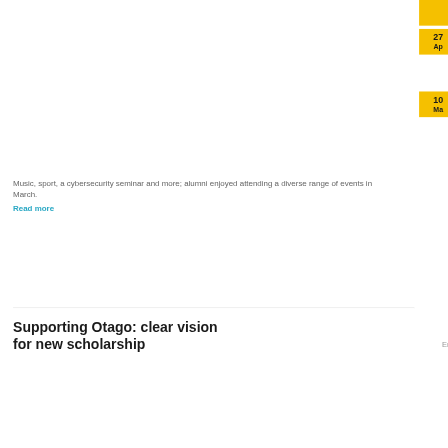[Figure (photo): White/blank image area for article about events in March]
Music, sport, a cybersecurity seminar and more; alumni enjoyed attending a diverse range of events in March.
Read more
Supporting Otago: clear vision for new scholarship
Ema
[Figure (other): Yellow date badge partially visible at top right]
[Figure (other): Yellow date badge: 27 April]
[Figure (other): Yellow date badge: 10 March]